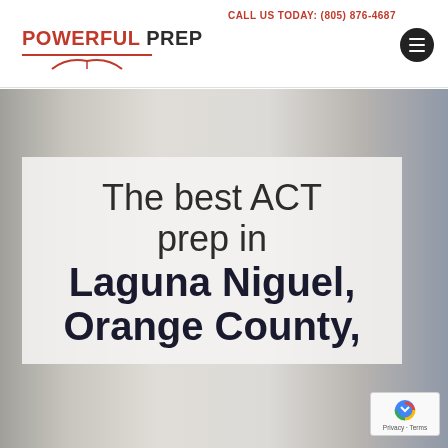CALL US TODAY: (805) 876-4687
[Figure (logo): Powerful Prep logo with red text and open book underline graphic]
[Figure (photo): Two people in consultation setting, white shirt and blue striped shirt visible, muted tones]
The best ACT prep in Laguna Niguel, Orange County,
[Figure (other): reCAPTCHA badge with Privacy and Terms links]